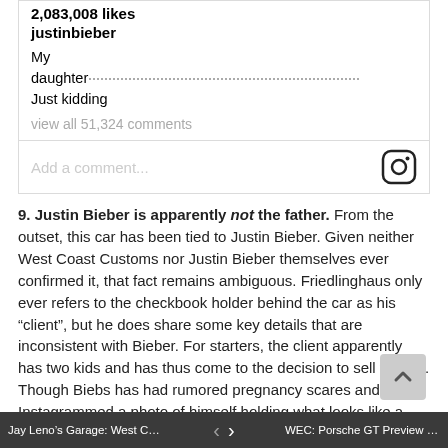2,083,008 likes
justinbieber
My daughter...........................................................Just kidding
view all 51,324 comments
Add a comment...
9. Justin Bieber is apparently not the father. From the outset, this car has been tied to Justin Bieber. Given neither West Coast Customs nor Justin Bieber themselves ever confirmed it, that fact remains ambiguous. Friedlinghaus only ever refers to the checkbook holder behind the car as his “client”, but he does share some key details that are inconsistent with Bieber. For starters, the client apparently has two kids and has thus come to the decision to sell the car. Though Biebs has had rumored pregnancy scares and even Instagrammed a photo of himself holding what looks like a photoshopped baby (thanks Google), we’re pretty sure he doesn’t have kids.
Apparently, the client is also married. He has a house in Santa
Jay Leno's Garage: West Coast Cu...   ‹   ›   WEC: Porsche GT Preview for Fu...